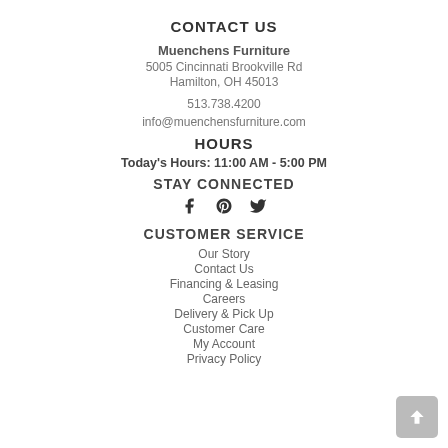CONTACT US
Muenchens Furniture
5005 Cincinnati Brookville Rd
Hamilton, OH 45013
513.738.4200
info@muenchensfurniture.com
HOURS
Today's Hours: 11:00 AM - 5:00 PM
STAY CONNECTED
[Figure (other): Social media icons: Facebook, Pinterest, Twitter]
CUSTOMER SERVICE
Our Story
Contact Us
Financing & Leasing
Careers
Delivery & Pick Up
Customer Care
My Account
Privacy Policy